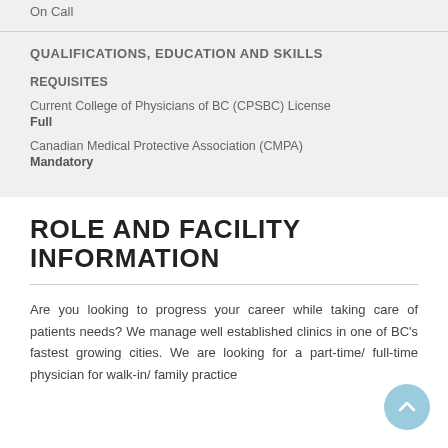On Call
QUALIFICATIONS, EDUCATION AND SKILLS
REQUISITES
Current College of Physicians of BC (CPSBC) License
Full
Canadian Medical Protective Association (CMPA)
Mandatory
ROLE AND FACILITY INFORMATION
Are you looking to progress your career while taking care of patients needs? We manage well established clinics in one of BC's fastest growing cities. We are looking for a part-time/ full-time physician for walk-in/ family practice